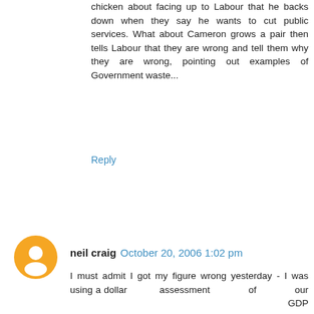chicken about facing up to Labour that he backs down when they say he wants to cut public services. What about Cameron grows a pair then tells Labour that they are wrong and tell them why they are wrong, pointing out examples of Government waste...
Reply
[Figure (illustration): Orange circle avatar icon with a white blogger/person silhouette]
neil craig  October 20, 2006 1:02 pm
I must admit I got my figure wrong yesterday - I was using a dollar assessment of our GDP http://www.geographyiq.com/ranking/ranking_GDP_purchasing_power_parity_dall.htm

A 1% increase in growth would be about £9 billion. £47 billion a year after 5 years. Since Ireland has been growing 4% faster than us for the last 16 years the value of supporting cuts in those taxes which significantly improve growth (primarily corporation tax) is obvious.

While cutting business taxes is not the quick bribe income taxes are I think, if convinced of this, the British people